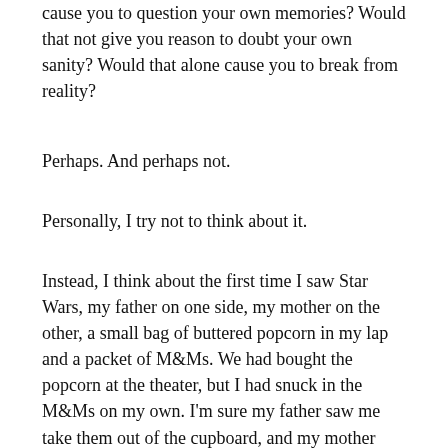cause you to question your own memories? Would that not give you reason to doubt your own sanity? Would that alone cause you to break from reality?
Perhaps. And perhaps not.
Personally, I try not to think about it.
Instead, I think about the first time I saw Star Wars, my father on one side, my mother on the other, a small bag of buttered popcorn in my lap and a packet of M&Ms. We had bought the popcorn at the theater, but I had snuck in the M&Ms on my own. I'm sure my father saw me take them out of the cupboard, and my mother heard me open them, looked at me, and smiled.